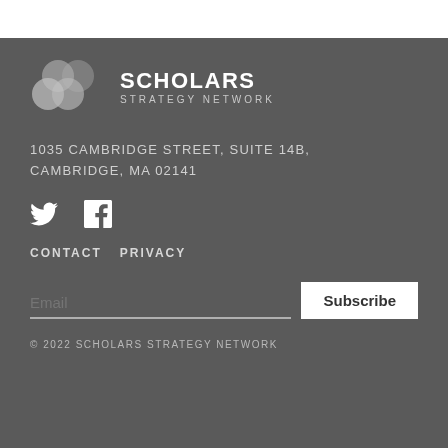[Figure (logo): Scholars Strategy Network logo with overlapping circle icon and text SCHOLARS STRATEGY NETWORK]
1035 CAMBRIDGE STREET, SUITE 14B, CAMBRIDGE, MA 02141
[Figure (illustration): Twitter and Facebook social media icons]
CONTACT   PRIVACY
Email   Subscribe
© 2022 SCHOLARS STRATEGY NETWORK